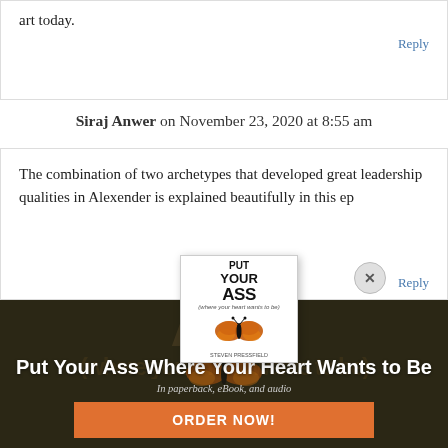art today.
Reply
Siraj Anwer on November 23, 2020 at 8:55 am
The combination of two archetypes that developed great leadership qualities in Alexender is explained beautifully in this ep
[Figure (photo): Book cover popup for 'Put Your Ass Where Your Heart Wants to Be' with butterfly graphic and close button]
[Figure (photo): Dark background promotional section with large text 'Put Your Ass Where Your Heart Wants to Be', subtitle 'In paperback, eBook, and audio', and orange ORDER NOW! button]